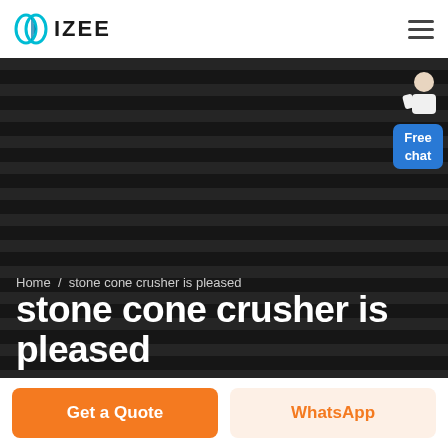IZEE
[Figure (screenshot): Hero banner with dark striped background and a customer chat avatar widget showing 'Free chat' button in blue]
Home / stone cone crusher is pleased
stone cone crusher is pleased
Get a Quote
WhatsApp